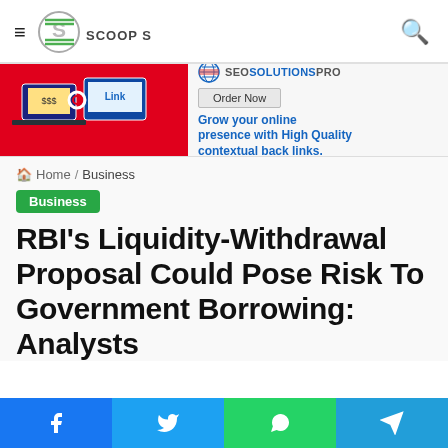Scoop Sky
[Figure (screenshot): SEO Solutions Pro advertisement banner - Grow your online presence with High Quality contextual back links.]
Home / Business
Business
RBI's Liquidity-Withdrawal Proposal Could Pose Risk To Government Borrowing: Analysts